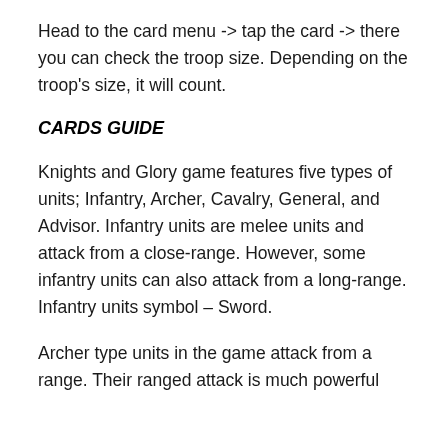Head to the card menu -> tap the card -> there you can check the troop size. Depending on the troop's size, it will count.
CARDS GUIDE
Knights and Glory game features five types of units; Infantry, Archer, Cavalry, General, and Advisor. Infantry units are melee units and attack from a close-range. However, some infantry units can also attack from a long-range. Infantry units symbol – Sword.
Archer type units in the game attack from a range. Their ranged attack is much powerful